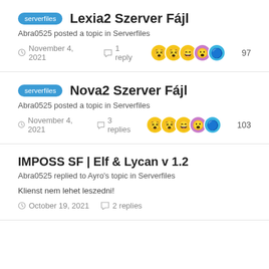Lexia2 Szerver Fájl
Abra0525 posted a topic in Serverfiles
November 4, 2021  1 reply  97
Nova2 Szerver Fájl
Abra0525 posted a topic in Serverfiles
November 4, 2021  3 replies  103
IMPOSS SF | Elf & Lycan v 1.2
Abra0525 replied to Ayro's topic in Serverfiles
Klienst nem lehet leszedni!
October 19, 2021  2 replies